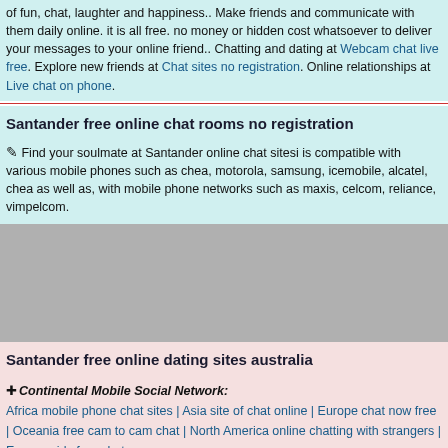of fun, chat, laughter and happiness.. Make friends and communicate with them daily online. it is all free. no money or hidden cost whatsoever to deliver your messages to your online friend.. Chatting and dating at Webcam chat live free. Explore new friends at Chat sites no registration. Online relationships at Live chat on phone.
Santander free online chat rooms no registration
Find your soulmate at Santander online chat sitesi is compatible with various mobile phones such as chea, motorola, samsung, icemobile, alcatel, chea as well as, with mobile phone networks such as maxis, celcom, reliance, vimpelcom.
[Figure (other): Gray advertisement placeholder box]
Santander free online dating sites australia
Continental Mobile Social Network: Africa mobile phone chat sites | Asia site of chat online | Europe chat now free | Oceania free cam to cam chat | North America online chatting with strangers | Europe girls free chat
Other Countries Mobile Social Network: Azerbaijan free chatrooms for android | Iraq chat services for mobile | Lesotho www online free chat rooms | Malawi free online phone chat